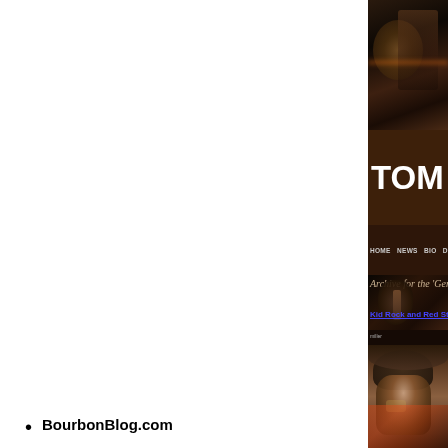BourbonBlog.com
Tripodder.com
[Figure (screenshot): Tom Fischer website screenshot showing dark brown header with site title 'TOM FISCH', navigation bar with HOME, NEWS, BIO, DEMOS & MEDIA links, archive heading 'Archive for the "Genera..."', article link 'Kid Rock and Red Stag Join F...', and a bottom photo of a person wearing a hat and sunglasses]
TOM FISCH
Archive for the 'Genera
Kid Rock and Red Stag Join F